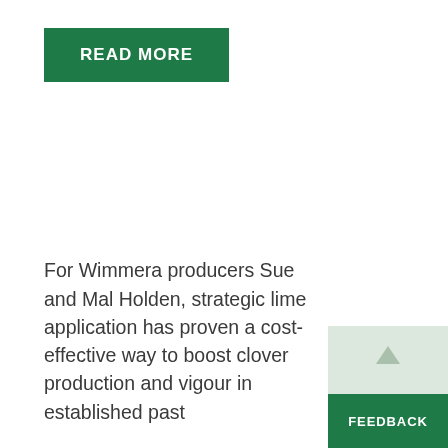READ MORE
For Wimmera producers Sue and Mal Holden, strategic lime application has proven a cost-effective way to boost clover production and vigour in established past…